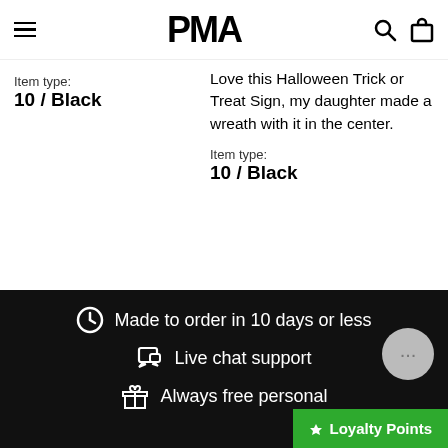PMA (logo)
Item type:
10 / Black
Love this Halloween Trick or Treat Sign, my daughter made a wreath with it in the center.

Item type:
10 / Black
Show more reviews
Made to order in 10 days or less
Live chat support
Always free personal